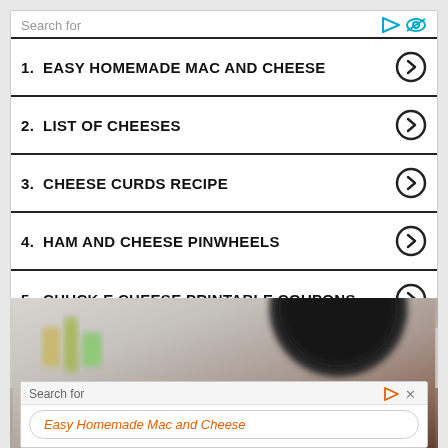Search for
1. EASY HOMEMADE MAC AND CHEESE
2. LIST OF CHEESES
3. CHEESE CURDS RECIPE
4. HAM AND CHEESE PINWHEELS
5. CHUCK E CHEESE PRINTABLE COUPONS
[Figure (photo): Blurred kitchen background with a dark pan/pot and food, with an overlay search bar at the bottom showing 'Search for' label and 'Easy Homemade Mac and Cheese' in orange text]
Search for
Easy Homemade Mac and Cheese